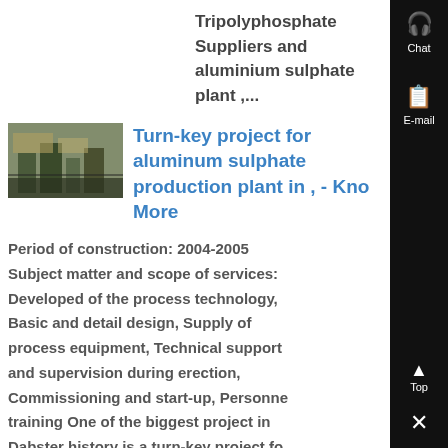Tripolyphosphate Suppliers and aluminium sulphate plant ,...
[Figure (photo): Industrial facility or equipment photo, possibly aluminum sulphate plant machinery]
Turn-key project for aluminum sulphate production plant in , - Know More
Period of construction: 2004-2005 Subject matter and scope of services: Developed of the process technology, Basic and detail design, Supply of process equipment, Technical support and supervision during erection, Commissioning and start-up, Personnel training One of the biggest project in Dabster history is a turn-key project for aluminum sulphate production plant in